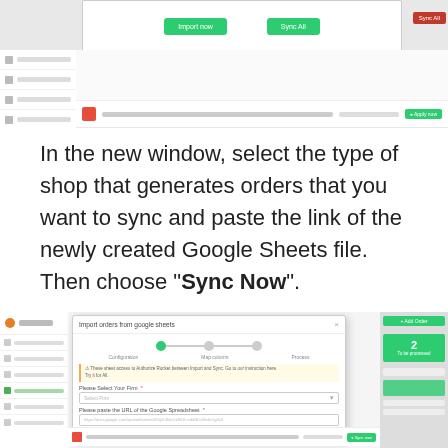[Figure (screenshot): Top portion of a web application UI showing a modal dialog with green 'Import now' and 'Sync All' buttons, a sidebar with menu items, and a data row with a red icon and green badge button.]
In the new window, select the type of shop that generates orders that you want to sync and paste the link of the newly created Google Sheets file. Then choose “Sync Now”.
[Figure (screenshot): Bottom portion showing the Omnisell web application with an 'Import Orders from Google Sheets' modal dialog open. The modal has a 3-step progress indicator (Configuration, Map column, Process), a warning message, a 'Please Select Your Firm' dropdown, and a 'Please paste the URL of the Google Spreadsheet' text field. Footer has a grey 'Go!' button and a green 'Import Now' button. Right side shows a green panel with the number 2.]